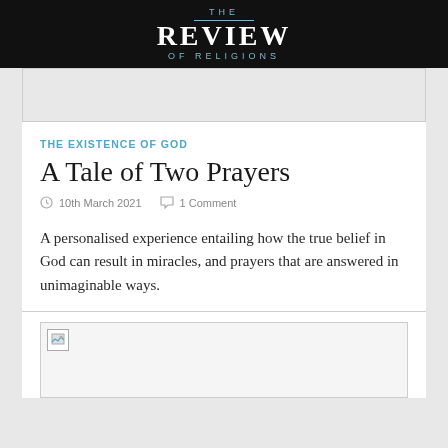THE REVIEW OF RELIGIONS
[Figure (photo): Gray placeholder image at top of article card]
THE EXISTENCE OF GOD
A Tale of Two Prayers
10th March 2021   1 Comment
A personalised experience entailing how the true belief in God can result in miracles, and prayers that are answered in unimaginable ways.
[Figure (photo): Article image placeholder at bottom of page]